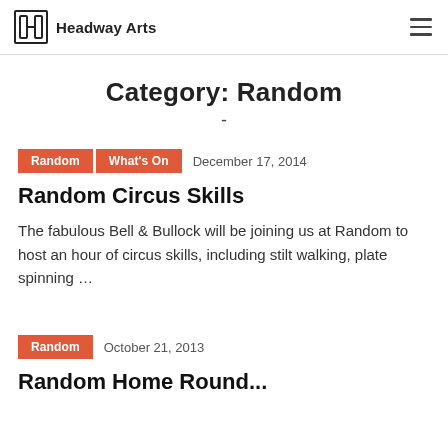Headway Arts
Category: Random
Random  What's On  December 17, 2014
Random Circus Skills
The fabulous Bell & Bullock will be joining us at Random to host an hour of circus skills, including stilt walking, plate spinning …
Random  October 21, 2013
Random Home Roundabout Theatre C...